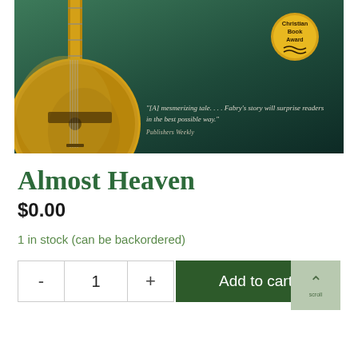[Figure (photo): Book cover image for 'Almost Heaven' showing a banjo instrument against a dark teal/green background with a Christian Book Award gold badge and a quote from Publishers Weekly reading '[A] mesmerizing tale.... Fabry's story will surprise readers in the best possible way.']
Almost Heaven
$0.00
1 in stock (can be backordered)
Add to cart